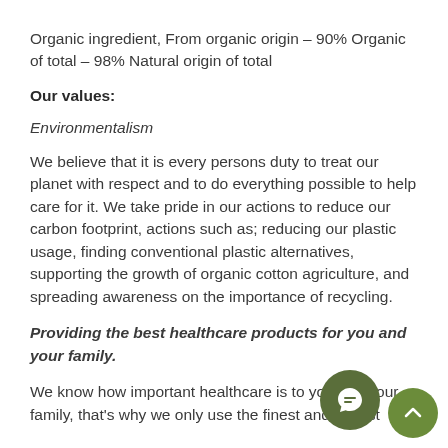Organic ingredient, From organic origin – 90% Organic of total – 98% Natural origin of total
Our values:
Environmentalism
We believe that it is every persons duty to treat our planet with respect and to do everything possible to help care for it. We take pride in our actions to reduce our carbon footprint, actions such as; reducing our plastic usage, finding conventional plastic alternatives, supporting the growth of organic cotton agriculture, and spreading awareness on the importance of recycling.
Providing the best healthcare products for you and your family.
We know how important healthcare is to you and your family, that's why we only use the finest and softest